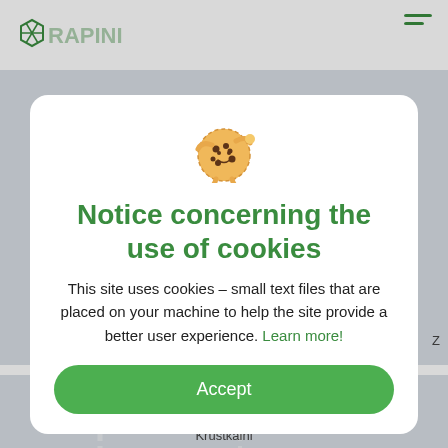[Figure (screenshot): Map background showing streets and buildings near Krustkalni with an A7 road label and a hop/beer location marker icon]
[Figure (logo): Rapini website logo in green at top left, partially visible]
Notice concerning the use of cookies
This site uses cookies – small text files that are placed on your machine to help the site provide a better user experience. Learn more!
Accept